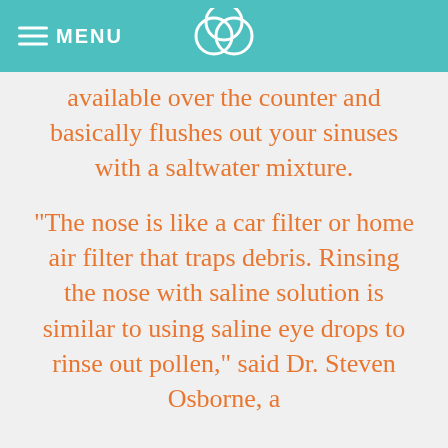MENU
available over the counter and basically flushes out your sinuses with a saltwater mixture.
“The nose is like a car filter or home air filter that traps debris. Rinsing the nose with saline solution is similar to using saline eye drops to rinse out pollen,” said Dr. Steven Osborne, a